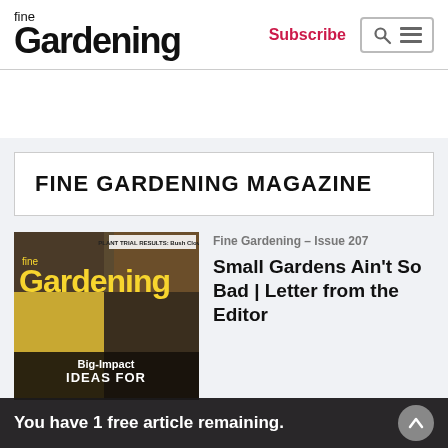fine Gardening | Subscribe
FINE GARDENING MAGAZINE
Fine Gardening – Issue 207
Small Gardens Ain't So Bad | Letter from the Editor
[Figure (photo): Fine Gardening magazine cover showing Issue 207 with Big-Impact Ideas for Small Spaces and Plant Trial Results: Bush Clover]
You have 1 free article remaining.